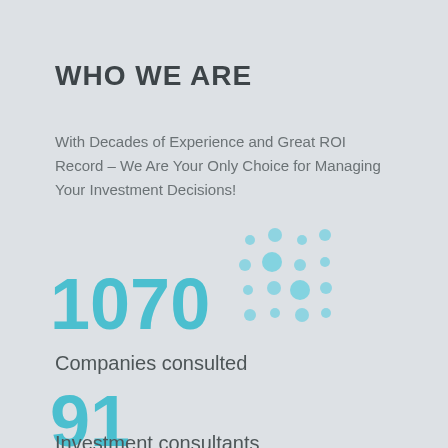WHO WE ARE
With Decades of Experience and Great ROI Record – We Are Your Only Choice for Managing Your Investment Decisions!
[Figure (illustration): Decorative dot pattern in light teal/cyan color arranged in a 4x4 grid with varying dot sizes]
1070
Companies consulted
91
Investment consultants